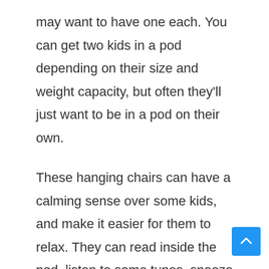may want to have one each. You can get two kids in a pod depending on their size and weight capacity, but often they'll just want to be in a pod on their own.
These hanging chairs can have a calming sense over some kids, and make it easier for them to relax. They can read inside the pod, listen to some tunes, snooze even!
We thought these hanging swing chair tent nooks would be just right to keep the grandkids amused, and eventually bought ourselves a couple of the larger versions as well.